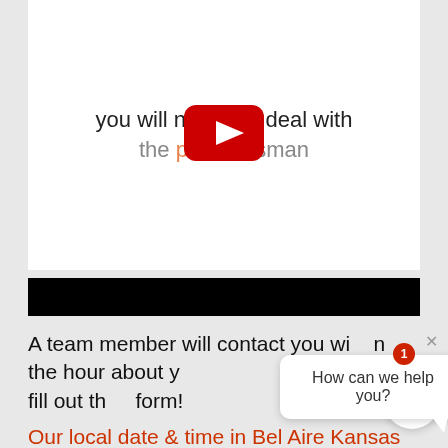[Figure (screenshot): Embedded YouTube video player showing white background with text 'you will no...o deal with the pu...esman' and a YouTube play button overlay (red rounded rectangle with white triangle)]
[Figure (screenshot): Black bar / video controls bar below the video embed]
A team member will contact you within the hour about your ... the time you fill out th... form!
Our local date & time in Bel Aire Kansas is: 02-
[Figure (screenshot): Chat widget popup with speech bubble saying 'How can we help you?', a red notification badge with number 1, a close X button, and a white circle icon]